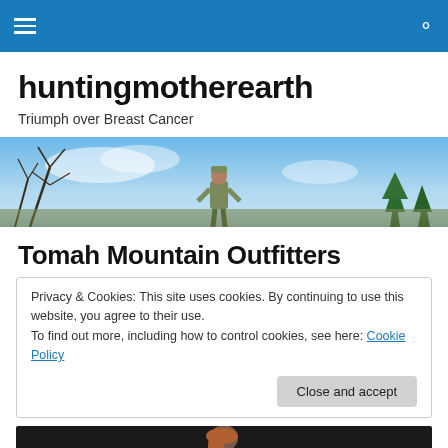huntingmotherearth — navigation bar with hamburger menu and search icon
huntingmotherearth
Triumph over Breast Cancer
[Figure (photo): Outdoor hero banner showing a person in camouflage standing in a field against a blue sky with trees]
Tomah Mountain Outfitters
Privacy & Cookies: This site uses cookies. By continuing to use this website, you agree to their use.
To find out more, including how to control cookies, see here: Cookie Policy
[Close and accept button]
[Figure (photo): Partial bottom image strip showing a person, dark background]